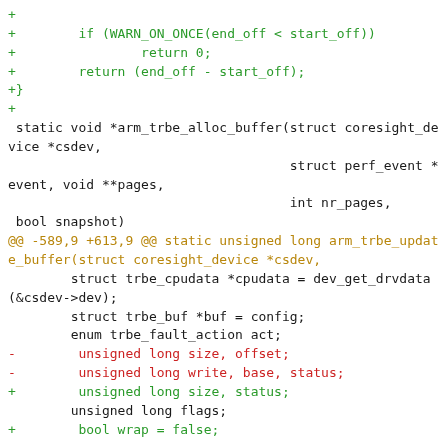[Figure (other): A code diff snippet showing C code changes with green added lines, red removed lines, orange context/hunk headers, and black unchanged lines. Shows changes to arm_trbe_alloc_buffer and arm_trbe_update_buffer functions.]